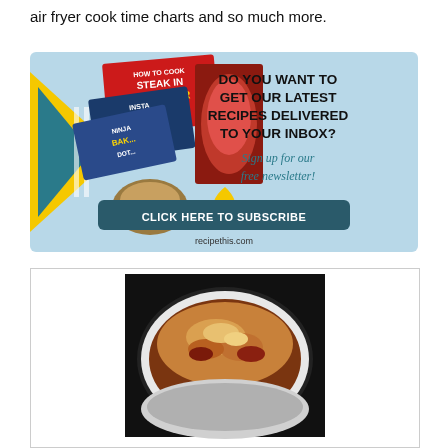air fryer cook time charts and so much more.
[Figure (infographic): Newsletter subscription advertisement banner for recipethis.com showing recipe books, food images, and call to action 'DO YOU WANT TO GET OUR LATEST RECIPES DELIVERED TO YOUR INBOX? Sign up for our free newsletter! CLICK HERE TO SUBSCRIBE']
[Figure (photo): Photo of a lasagna dish in a round container with browned cheese on top, photographed against a dark background]